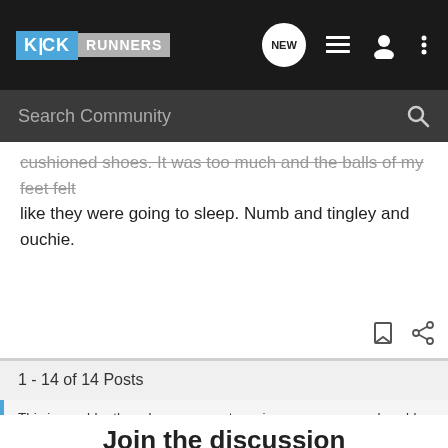[Figure (screenshot): KickRunners website navigation bar with logo, NEW chat bubble, list icon, user icon, and three-dot menu icon on dark background]
[Figure (screenshot): Dark search bar with 'Search Community' placeholder text and magnifying glass icon]
cushioned shoes. It was too much and the balls of my feet felt like they were going to sleep. Numb and tingley and ouchie.
1 - 14 of 14 Posts
This is an older thread, you may not receive a response, and could be reviving an old thread. Please consider creating a new thread.
Join the discussion